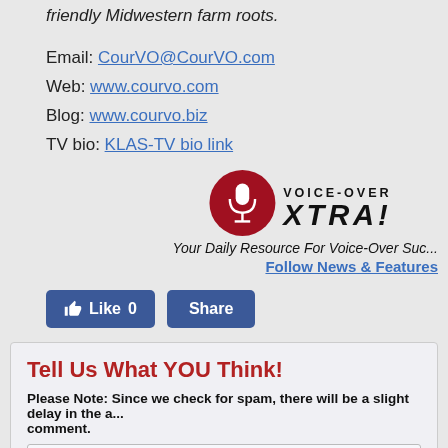friendly Midwestern farm roots.
Email: CourVO@CourVO.com
Web: www.courvo.com
Blog: www.courvo.biz
TV bio: KLAS-TV bio link
[Figure (logo): Voice-Over Xtra logo with red microphone circle and bold VOICE-OVER XTRA text]
Your Daily Resource For Voice-Over Success
Follow News & Features
[Figure (other): Facebook Like (0) and Share buttons]
Tell Us What YOU Think!
Please Note: Since we check for spam, there will be a slight delay in the appearance of your comment.
Your Name